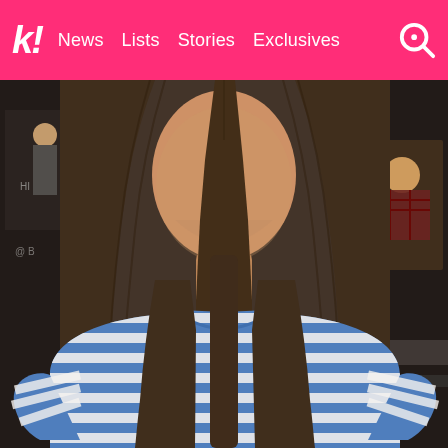k! News Lists Stories Exclusives
[Figure (photo): Young woman with long straight dark brown hair wearing a blue and white striped t-shirt, photographed indoors against a wall with posters. A child can be seen in a photo poster on the right side of the background.]